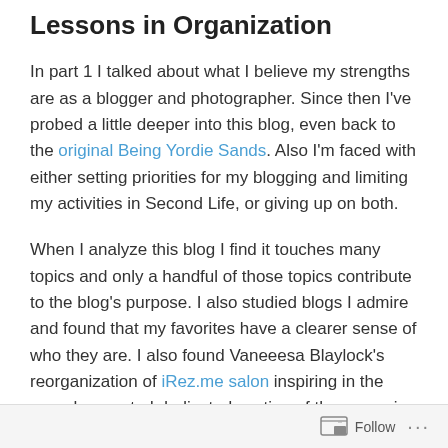Lessons in Organization
In part 1 I talked about what I believe my strengths are as a blogger and photographer. Since then I've probed a little deeper into this blog, even back to the original Being Yordie Sands. Also I'm faced with either setting priorities for my blogging and limiting my activities in Second Life, or giving up on both.
When I analyze this blog I find it touches many topics and only a handful of those topics contribute to the blog's purpose. I also studied blogs I admire and found that my favorites have a clearer sense of who they are. I also found Vaneeesa Blaylock's reorganization of iRez.me salon inspiring in the way she created dedicated section of the magazine for the key categories of content. My take
Follow ...